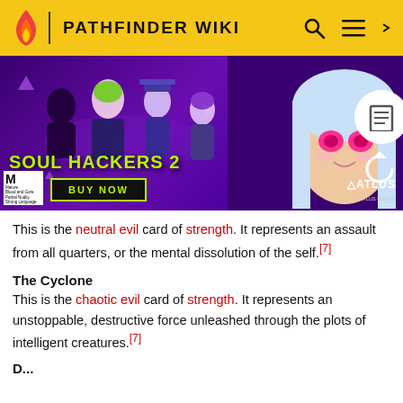PATHFINDER WIKI
[Figure (screenshot): Advertisement for Soul Hackers 2 game by Atlus, showing anime characters on purple background with 'BUY NOW' button and game title in green text.]
This is the neutral evil card of strength. It represents an assault from all quarters, or the mental dissolution of the self.[7]
The Cyclone
This is the chaotic evil card of strength. It represents an unstoppable, destructive force unleashed through the plots of intelligent creatures.[7]
D...